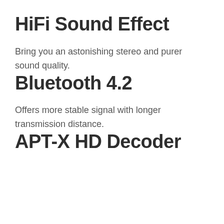HiFi Sound Effect
Bring you an astonishing stereo and purer sound quality.
Bluetooth 4.2
Offers more stable signal with longer transmission distance.
APT-X HD Decoder